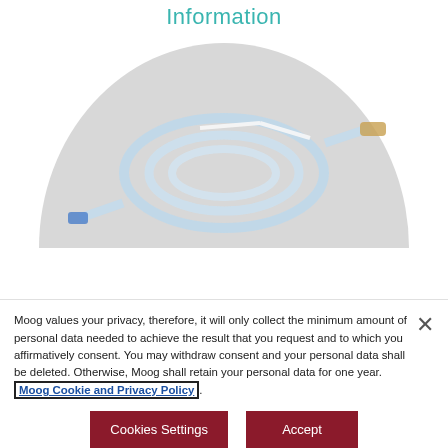Information
[Figure (photo): Medical tubing/catheter coiled on a light background with a grey semicircular arch backdrop]
Moog values your privacy, therefore, it will only collect the minimum amount of personal data needed to achieve the result that you request and to which you affirmatively consent. You may withdraw consent and your personal data shall be deleted. Otherwise, Moog shall retain your personal data for one year. Moog Cookie and Privacy Policy.
Cookies Settings
Accept